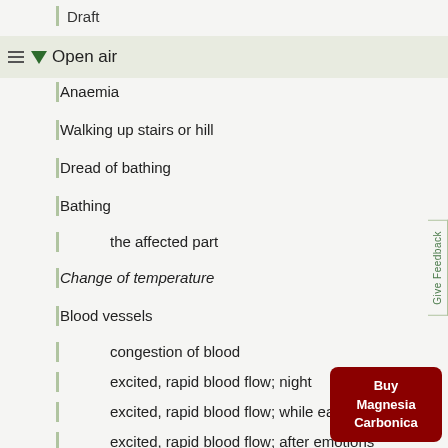Draft
Open air
Anaemia
Walking up stairs or hill
Dread of bathing
Bathing
the affected part
Change of temperature
Blood vessels
congestion of blood
excited, rapid blood flow; night
excited, rapid blood flow; while eating warm food
excited, rapid blood flow; after emotions
varicose veins
Give Feedback
Buy Magnesia Carbonica